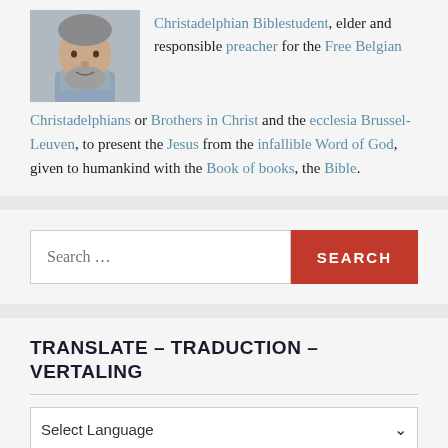[Figure (photo): Head and shoulders photo of an older man with a grey beard wearing a light blue collared shirt]
Christadelphian Biblestudent, elder and responsible preacher for the Free Belgian Christadelphians or Brothers in Christ and the ecclesia Brussel-Leuven, to present the Jesus from the infallible Word of God, given to humankind with the Book of books, the Bible.
Search ...
TRANSLATE – TRADUCTION – VERTALING
Select Language
Powered by Google Translate